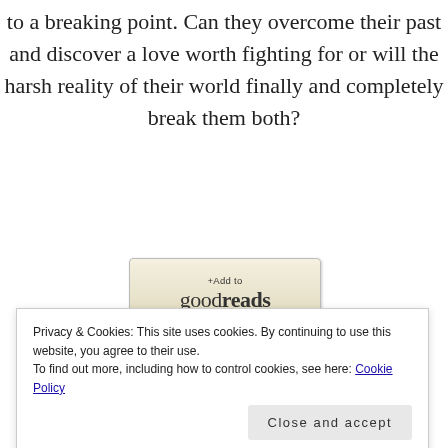to a breaking point. Can they overcome their past and discover a love worth fighting for or will the harsh reality of their world finally and completely break them both?
[Figure (logo): +Add to goodreads button]
Amazon US
Amazon UK
Barnes & Noble
iTunes
Kobo
Privacy & Cookies: This site uses cookies. By continuing to use this website, you agree to their use. To find out more, including how to control cookies, see here: Cookie Policy
Close and accept
hot, alpha men and the tough, independent